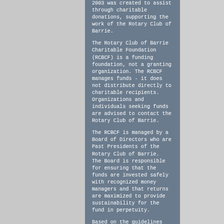2003 was created to assist through charitable donations, supporting the work of the Rotary Club of Barrie.
The Rotary Club of Barrie Charitable Foundation (RCBCF) is a funding foundation, not a granting organization. The RCBCF manages funds - it does not distribute directly to charitable recipients. Organizations and individuals seeking funds are advised to contact the Rotary Club of Barrie.
The RCBCF is managed by a Board of Directors who are Past Presidents of the Rotary Club of Barrie.  The Board is responsible for ensuring that the funds are invested safely with recognized money managers and that returns are maximized to provide sustainability for the fund in perpetuity.
Based on the guidelines set of by the Canadian Revenue funds are then distributed annually to the Rotary Club of Barrie toward projects that fall into the “Pillars” of support as defined by the Foundation mandate that include